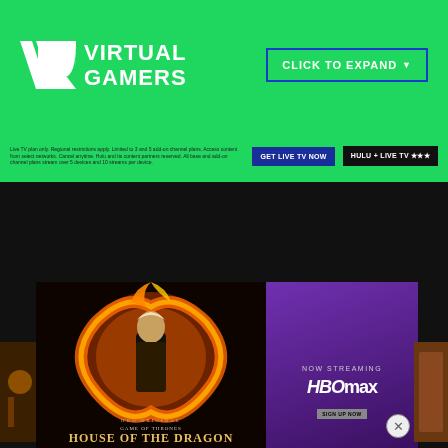[Figure (logo): Virtual Gamers logo with VR monogram in white on green background]
CLICK TO EXPAND ▼
Live TV plan only. Regional restrictions apply. Limited to 3 and 5 add-on channel plans. Access content from select networks. Cancel anytime. Hulu and its content partners reserved. All base and add-on channel plans stream over 5 devices and 10 streams per device.
GET LIVE TV NOW
HULU + LIVE TV
[Figure (photo): House of the Dragon HBO series promotional image showing a character surrounded by fire]
[Figure (advertisement): HBO Max Now Streaming advertisement on purple background with sign up button]